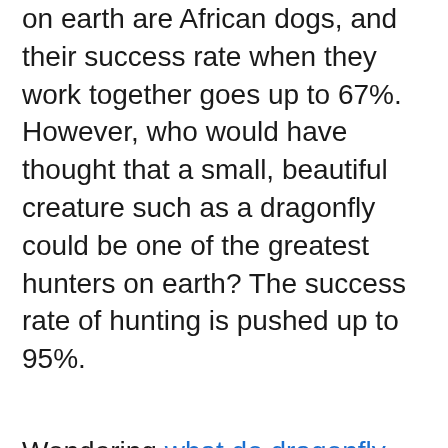on earth are African dogs, and their success rate when they work together goes up to 67%. However, who would have thought that a small, beautiful creature such as a dragonfly could be one of the greatest hunters on earth? The success rate of hunting is pushed up to 95%.
Wondering what do dragonfly eat? Well, apparently, adult dragonflies mainly eat a wide variety of insects, and they are very carnivorous. They can eat mosquitoes, moths,